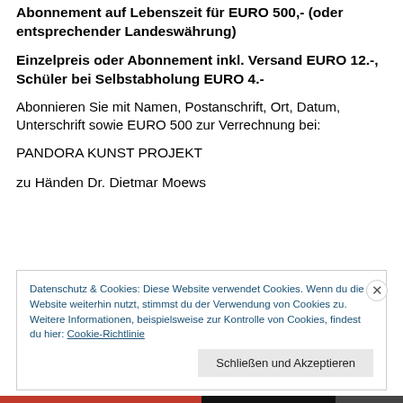Abonnement auf Lebenszeit für EURO 500,- (oder entsprechender Landeswährung)
Einzelpreis oder Abonnement inkl. Versand EURO 12.-, Schüler bei Selbstabholung EURO 4.-
Abonnieren Sie mit Namen, Postanschrift, Ort, Datum, Unterschrift sowie EURO 500 zur Verrechnung bei:
PANDORA KUNST PROJEKT
zu Händen Dr. Dietmar Moews
Datenschutz & Cookies: Diese Website verwendet Cookies. Wenn du die Website weiterhin nutzt, stimmst du der Verwendung von Cookies zu. Weitere Informationen, beispielsweise zur Kontrolle von Cookies, findest du hier: Cookie-Richtlinie
Schließen und Akzeptieren